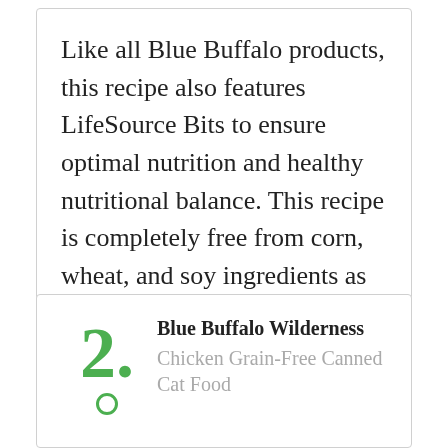Like all Blue Buffalo products, this recipe also features LifeSource Bits to ensure optimal nutrition and healthy nutritional balance. This recipe is completely free from corn, wheat, and soy ingredients as well as by-products and artificial additives.
2. Blue Buffalo Wilderness Chicken Grain-Free Canned Cat Food